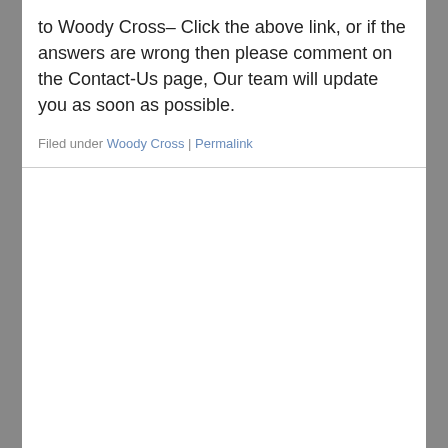to Woody Cross– Click the above link, or if the answers are wrong then please comment on the Contact-Us page, Our team will update you as soon as possible.
Filed under Woody Cross | Permalink